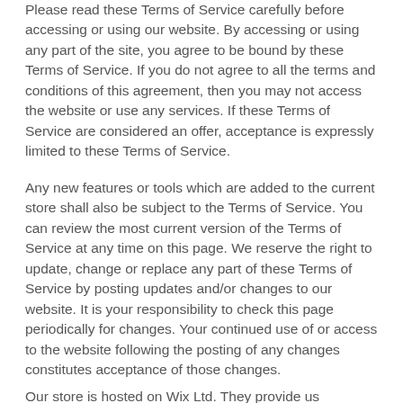Please read these Terms of Service carefully before accessing or using our website. By accessing or using any part of the site, you agree to be bound by these Terms of Service. If you do not agree to all the terms and conditions of this agreement, then you may not access the website or use any services. If these Terms of Service are considered an offer, acceptance is expressly limited to these Terms of Service.
Any new features or tools which are added to the current store shall also be subject to the Terms of Service. You can review the most current version of the Terms of Service at any time on this page. We reserve the right to update, change or replace any part of these Terms of Service by posting updates and/or changes to our website. It is your responsibility to check this page periodically for changes. Your continued use of or access to the website following the posting of any changes constitutes acceptance of those changes.
Our store is hosted on Wix Ltd. They provide us